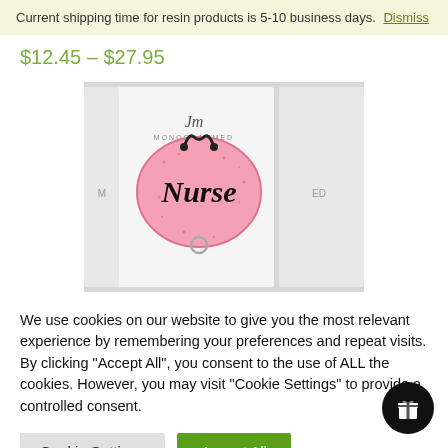Current shipping time for resin products is 5-10 business days. Dismiss
$12.45 – $27.95
[Figure (photo): Product photo showing a pink glitter stethoscope-shaped badge reel with the word 'Nurse' written in black on it, displayed on a white product card with 'Jm MONOGRAMMED' text visible]
We use cookies on our website to give you the most relevant experience by remembering your preferences and repeat visits. By clicking "Accept All", you consent to the use of ALL the cookies. However, you may visit "Cookie Settings" to provide a controlled consent.
Cookie Settings
Accept All